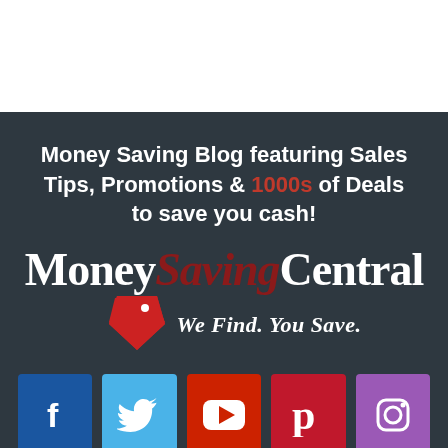[Figure (other): White empty top section]
Money Saving Blog featuring Sales Tips, Promotions & 1000s of Deals to save you cash!
[Figure (logo): MoneySavingCentral logo with price tag icon and slogan 'We Find. You Save.']
[Figure (infographic): Social media icons row: Facebook, Twitter, YouTube, Pinterest, Instagram]